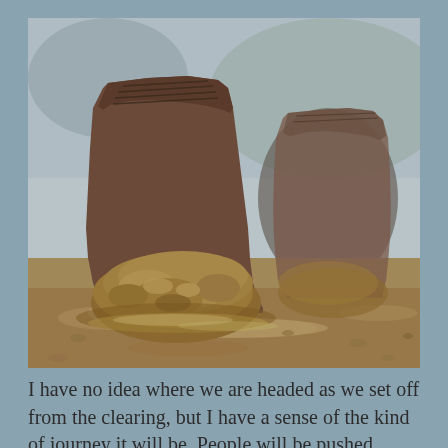[Figure (photo): Close-up photo of two muddy hiking boots walking through wet muddy terrain. The front boot is in sharp focus covered in thick brown mud, the rear boot is slightly blurred. The ground is muddy and wet.]
I have no idea where we are headed as we set off from the clearing, but I have a sense of the kind of journey it will be. People will be pushed. They will be cold, tired, hungry and